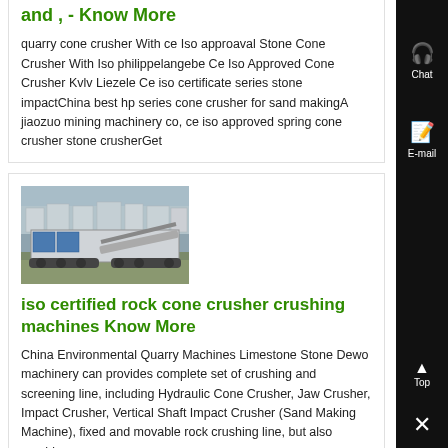and , - Know More
quarry cone crusher With ce Iso approaval Stone Cone Crusher With Iso philippelangebe Ce Iso Approved Cone Crusher Kvlv Liezele Ce iso certificate series stone impactChina best hp series cone crusher for sand makingA jiaozuo mining machinery co, ce iso approved spring cone crusher stone crusherGet
[Figure (photo): A mobile rock crushing machine / plant on tracks, outdoors on a gravel/grass surface with buildings in background.]
iso certified rock cone crusher crushing machines Know More
China Environmental Quarry Machines Limestone Stone Dewo machinery can provides complete set of crushing and screening line, including Hydraulic Cone Crusher, Jaw Crusher, Impact Crusher, Vertical Shaft Impact Crusher (Sand Making Machine), fixed and movable rock crushing line, but also provides
[Figure (photo): Partial view of another machine, cut off at bottom of page.]